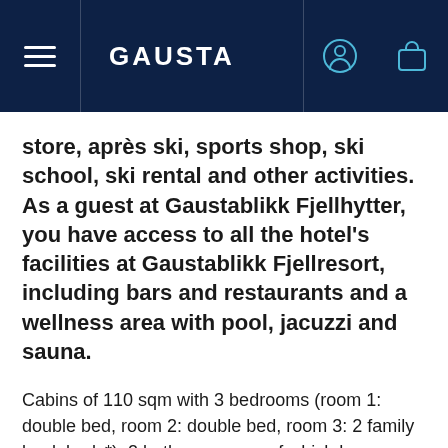GAUSTA
store, après ski, sports shop, ski school, ski rental and other activities. As a guest at Gaustablikk Fjellhytter, you have access to all the hotel's facilities at Gaustablikk Fjellresort, including bars and restaurants and a wellness area with pool, jacuzzi and sauna.
Cabins of 110 sqm with 3 bedrooms (room 1: double bed, room 2: double bed, room 3: 2 family bunk beds*), 2 bathrooms one of which has a sauna, kitchen with dishwasher, oven, stove, microwave and refrigerator. Living room with TV, wireless wifi and fireplace. *The lower part of